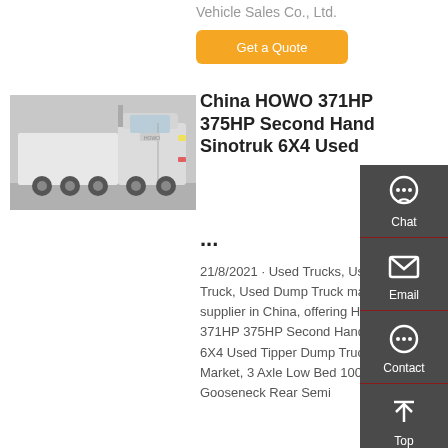Vehicle Sales Co., Ltd.
[Figure (other): Orange 'Get a Quote' button]
[Figure (photo): White HOWO heavy-duty truck (tractor unit) parked outdoors]
China HOWO 371HP 375HP Second Hand Sinotruk 6X4 Used ...
21/8/2021 · Used Trucks, Used HOWO Truck, Used Dump Truck manufacturer / supplier in China, offering HOWO 371HP 375HP Second Hand Sinotruk 6X4 Used Tipper Dump Truck for Africa Market, 3 Axle Low Bed 100ton Lowbed Gooseneck Rear Semi ...